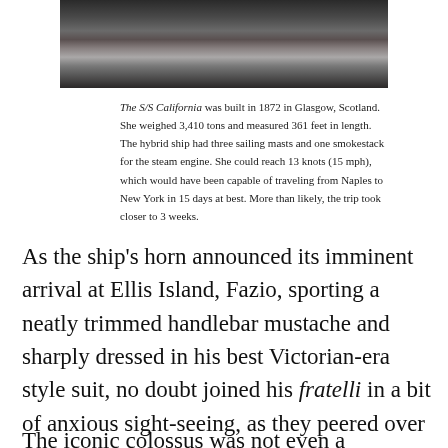[Figure (photo): Black and white photograph of the S/S California ship at sea, showing the hull and waves]
The S/S California was built in 1872 in Glasgow, Scotland. She weighed 3,410 tons and measured 361 feet in length. The hybrid ship had three sailing masts and one smokestack for the steam engine. She could reach 13 knots (15 mph), which would have been capable of traveling from Naples to New York in 15 days at best. More than likely, the trip took closer to 3 weeks.
As the ship's horn announced its imminent arrival at Ellis Island, Fazio, sporting a neatly trimmed handlebar mustache and sharply dressed in his best Victorian-era style suit, no doubt joined his fratelli in a bit of anxious sight-seeing, as they peered over the railing to catch a glimpse of the Statue of Liberty, now coming into full view on nearby Liberty Island.
The iconic colossus was not even a teenager, erected